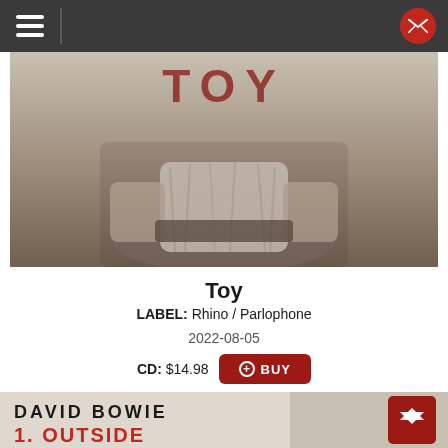Navigation bar with hamburger menu and mail icon
[Figure (photo): Album cover for 'Toy' by David Bowie. Monochrome/sepia image of a figure with the word TOY in large red letters at the top.]
Toy
LABEL: Rhino / Parlophone
2022-08-05
CD: $14.98  + BUY
MP3 Album: $24.99  DOWNLOAD
[Figure (photo): Bottom strip showing another David Bowie album '1. Outside' partially visible at the bottom of the page.]